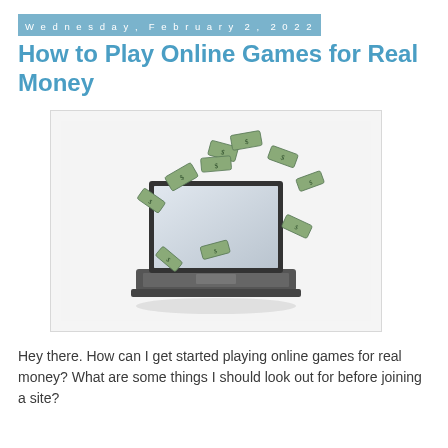Wednesday, February 2, 2022
How to Play Online Games for Real Money
[Figure (illustration): A laptop computer with dollar bills flying out of the screen, illustrated on a white/light grey background.]
Hey there. How can I get started playing online games for real money? What are some things I should look out for before joining a site?